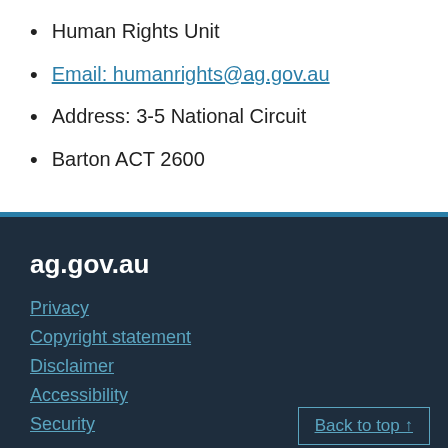Human Rights Unit
Email: humanrights@ag.gov.au
Address: 3-5 National Circuit
Barton ACT 2600
ag.gov.au
Privacy
Copyright statement
Disclaimer
Accessibility
Security
Back to top ↑